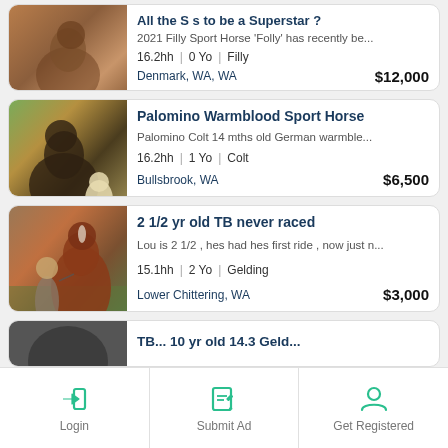[Figure (photo): Partial horse listing card at top - brown foal/calf photo, title partially visible 'All the S s to be a Superstar ?']
2021 Filly Sport Horse 'Folly' has recently be...
16.2hh | 0 Yo | Filly
Denmark, WA, WA  $12,000
[Figure (photo): Palomino Warmblood Sport Horse listing - dark horse with light foal in green field]
Palomino Warmblood Sport Horse
Palomino Colt 14 mths old German warmble...
16.2hh | 1 Yo | Colt
Bullsbrook, WA  $6,500
[Figure (photo): 2 1/2 yr old TB never raced - person standing with chestnut horse]
2 1/2 yr old TB never raced
Lou is 2 1/2 , hes had hes first ride , now just n...
15.1hh | 2 Yo | Gelding
Lower Chittering, WA  $3,000
[Figure (photo): Partial listing card at bottom - partially visible horse listing]
Login | Submit Ad | Get Registered